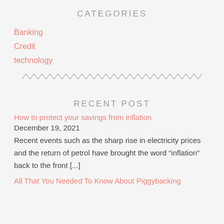CATEGORIES
Banking
Credit
technology
[Figure (other): Decorative zigzag/wavy line divider]
RECENT POST
How to protect your savings from inflation
December 19, 2021
Recent events such as the sharp rise in electricity prices and the return of petrol have brought the word "inflation" back to the front [...]
All That You Needed To Know About Piggybacking